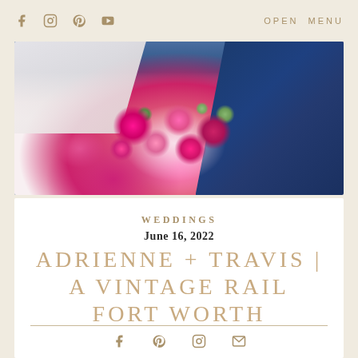f [instagram] [pinterest] [youtube]   OPEN MENU
[Figure (photo): Wedding photo showing bride in white lace dress holding a large bouquet of hot pink and fuchsia flowers with greenery, and groom in navy blue suit, cropped at torso level]
WEDDINGS
June 16, 2022
ADRIENNE + TRAVIS | A VINTAGE RAIL FORT WORTH
f [pinterest] [instagram] [mail]